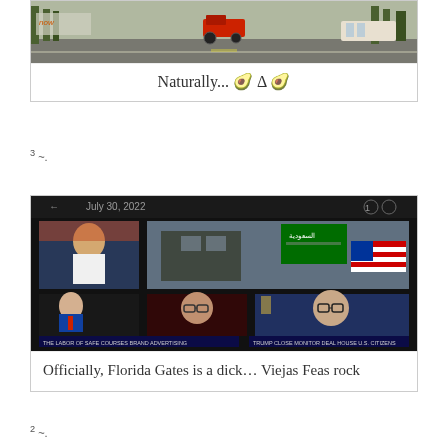[Figure (photo): Street photo with red tractor/vehicle on urban road with trees]
Naturally... 🥑 Δ 🥑
3 ~.
[Figure (screenshot): Screenshot dated July 30, 2022 showing a composite of news broadcast images including news anchors, flags (Saudi Arabia, USA), and commentators]
Officially, Florida Gates is a dick… Viejas Feas rock
2 ~.